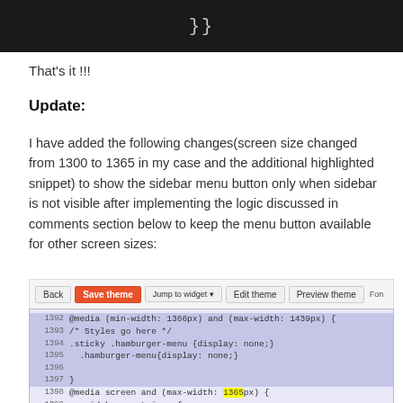[Figure (screenshot): Code editor dark background showing closing braces }} in gray text]
That's it !!!
Update:
I have added the following changes(screen size changed from 1300 to 1365 in my case and the additional highlighted snippet) to show the sidebar menu button only when sidebar is not visible after implementing the logic discussed in comments section below to keep the menu button available for other screen sizes:
[Figure (screenshot): Blogger theme editor screenshot showing toolbar with Back, Save theme, Jump to widget, Edit theme, Preview theme buttons and code editor with CSS media query code. Lines 1392-1403 visible with highlighted code including @media (min-width: 1366px) and (max-width: 1439px), .sticky .hamburger-menu {display: none;}, .hamburger-menu{display: none;}, @media screen and (max-width: 1365px) with 1365 highlighted in yellow, .sidebar-container { bottom: 0; position: fixed; top: 0; }]